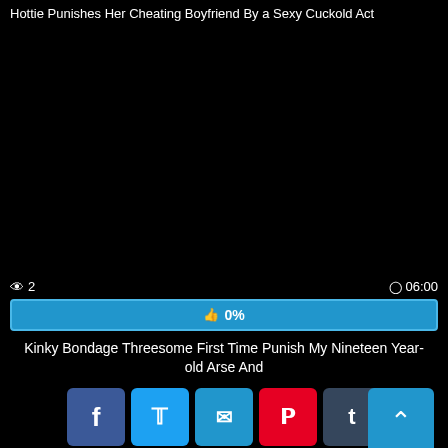Hottie Punishes Her Cheating Boyfriend By a Sexy Cuckold Act
[Figure (photo): Black video player area]
👁 2    🕐 06:00
👍 0%
Kinky Bondage Threesome First Time Punish My Nineteen Year-old Arse And
[Figure (infographic): Social share buttons: Facebook, Twitter, Email, Pinterest, Tumblr, Reddit, Blogger, WordPress, VK, More, and scroll-to-top button]